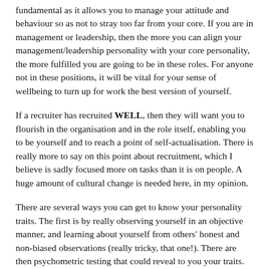fundamental as it allows you to manage your attitude and behaviour so as not to stray too far from your core. If you are in management or leadership, then the more you can align your management/leadership personality with your core personality, the more fulfilled you are going to be in these roles. For anyone not in these positions, it will be vital for your sense of wellbeing to turn up for work the best version of yourself.
If a recruiter has recruited WELL, then they will want you to flourish in the organisation and in the role itself, enabling you to be yourself and to reach a point of self-actualisation. There is really more to say on this point about recruitment, which I believe is sadly focused more on tasks than it is on people. A huge amount of cultural change is needed here, in my opinion.
There are several ways you can get to know your personality traits. The first is by really observing yourself in an objective manner, and learning about yourself from others' honest and non-biased observations (really tricky, that one!). There are then psychometric testing that could reveal to you your traits. Professionally, I use the Myers-Briggs Type Indicator, but there are many others out there and there are other blogs that specialise in this information. I like to use Schein's Career